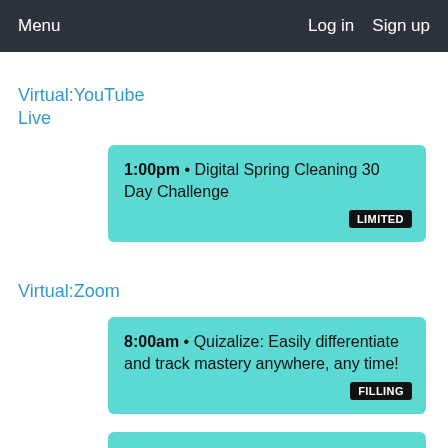Menu   Log in   Sign up
Virtual:YouTube Live
1:00pm • Digital Spring Cleaning 30 Day Challenge   LIMITED
Virtual:Zoom
8:00am • Quizalize: Easily differentiate and track mastery anywhere, any time!   FILLING
9:00am • Make Canvas Work For